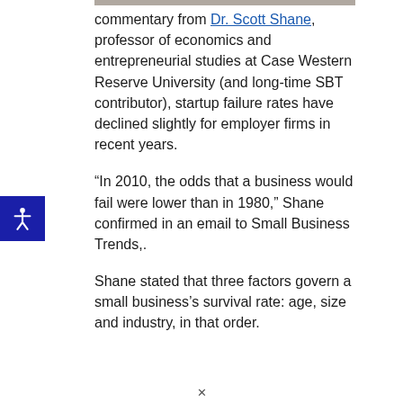commentary from Dr. Scott Shane, professor of economics and entrepreneurial studies at Case Western Reserve University (and long-time SBT contributor), startup failure rates have declined slightly for employer firms in recent years.
“In 2010, the odds that a business would fail were lower than in 1980,” Shane confirmed in an email to Small Business Trends,.
Shane stated that three factors govern a small business’s survival rate: age, size and industry, in that order.